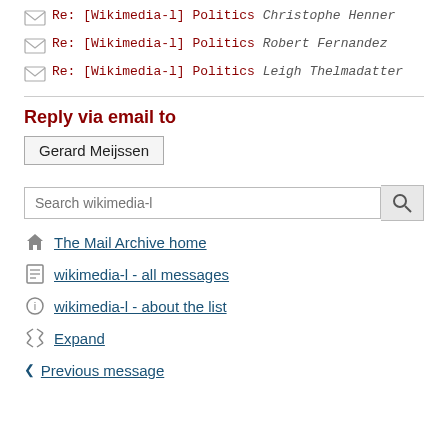Re: [Wikimedia-l] Politics Christophe Henner
Re: [Wikimedia-l] Politics Robert Fernandez
Re: [Wikimedia-l] Politics Leigh Thelmadatter
Reply via email to
Gerard Meijssen
Search wikimedia-l
The Mail Archive home
wikimedia-l - all messages
wikimedia-l - about the list
Expand
Previous message